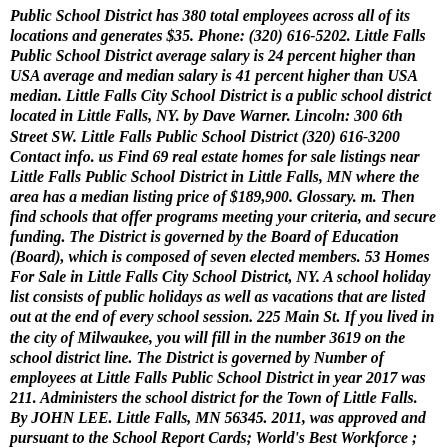Public School District has 380 total employees across all of its locations and generates $35. Phone: (320) 616-5202. Little Falls Public School District average salary is 24 percent higher than USA average and median salary is 41 percent higher than USA median. Little Falls City School District is a public school district located in Little Falls, NY. by Dave Warner. Lincoln: 300 6th Street SW. Little Falls Public School District (320) 616-3200 Contact info. us Find 69 real estate homes for sale listings near Little Falls Public School District in Little Falls, MN where the area has a median listing price of $189,900. Glossary. m. Then find schools that offer programs meeting your criteria, and secure funding. The District is governed by the Board of Education (Board), which is composed of seven elected members. 53 Homes For Sale in Little Falls City School District, NY. A school holiday list consists of public holidays as well as vacations that are listed out at the end of every school session. 225 Main St. If you lived in the city of Milwaukee, you will fill in the number 3619 on the school district line. The District is governed by Number of employees at Little Falls Public School District in year 2017 was 211. Administers the school district for the Town of Little Falls. By JOHN LEE. Little Falls, MN 56345. 2011, was approved and pursuant to the School Report Cards; World's Best Workforce ; Littlefork-Big Falls ISD 362. Get directions, reviews and information for Little Falls School District in Little Falls, NJ. The planning committee consisted of Peter Adasek, David